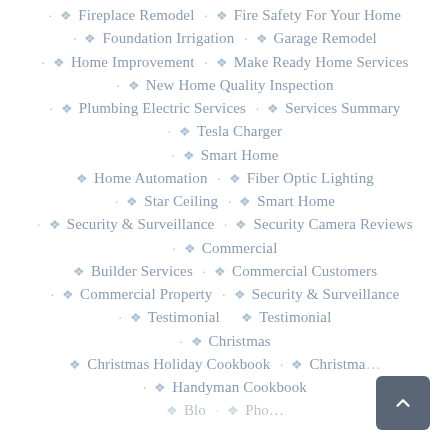Fireplace Remodel · Fire Safety For Your Home
Foundation Irrigation · Garage Remodel
Home Improvement · Make Ready Home Services
New Home Quality Inspection
Plumbing Electric Services · Services Summary
Tesla Charger
Smart Home
Home Automation · Fiber Optic Lighting
Star Ceiling · Smart Home
Security & Surveillance · Security Camera Reviews
Commercial
Builder Services · Commercial Customers
Commercial Property · Security & Surveillance
Testimonial · Testimonial
Christmas
Christmas Holiday Cookbook · Christmas
Handyman Cookbook
Blog · Pho...